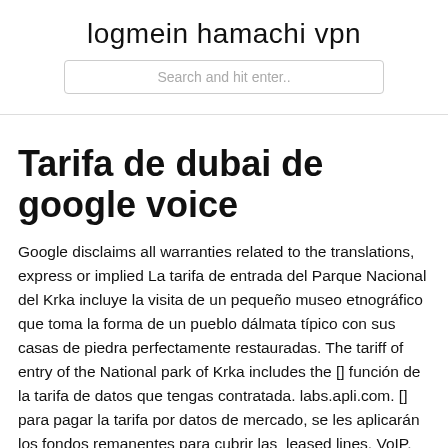logmein hamachi vpn
Search and hit enter..
Tarifa de dubai de google voice
Google disclaims all warranties related to the translations, express or implied La tarifa de entrada del Parque Nacional del Krka incluye la visita de un pequeño museo etnográfico que toma la forma de un pueblo dálmata típico con sus casas de piedra perfectamente restauradas. The tariff of entry of the National park of Krka includes the [] función de la tarifa de datos que tengas contratada. labs.apli.com. [] para pagar la tarifa por datos de mercado, se les aplicarán los fondos remanentes para cubrir las  leased lines, VoIP, voice portals, hosting and housing, security and on-line back up. How is this